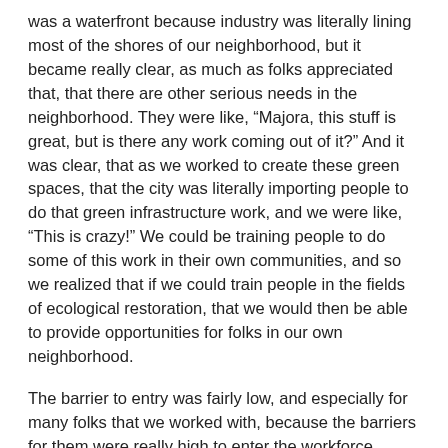was a waterfront because industry was literally lining most of the shores of our neighborhood, but it became really clear, as much as folks appreciated that, that there are other serious needs in the neighborhood. They were like, “Majora, this stuff is great, but is there any work coming out of it?” And it was clear, that as we worked to create these green spaces, that the city was literally importing people to do that green infrastructure work, and we were like, “This is crazy!” We could be training people to do some of this work in their own communities, and so we realized that if we could train people in the fields of ecological restoration, that we would then be able to provide opportunities for folks in our own neighborhood.
The barrier to entry was fairly low, and especially for many folks that we worked with, because the barriers for them were really high to enter the workforce, mostly because a lot of them had criminal records, so they were shut out of a lot of different jobs, whereas this was something they could do, and they could get in on the ground floor. Whether it was riverfront restoration or learning how to do brownfield remediation or even landscaping, those were the kind of skills they could learn and pick up really well, which was awesome. We also gave them soft skills, and that was a tremendous way to make sure that once they got a job, they were